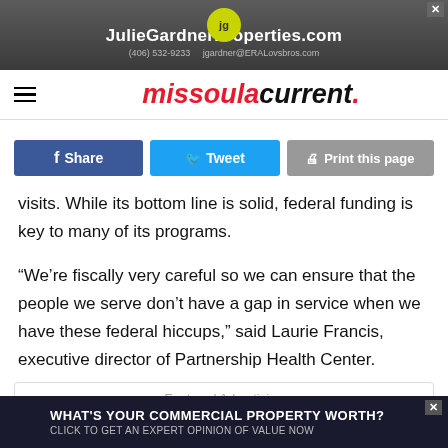[Figure (screenshot): Advertisement banner for JulieGardnerProperties.com with phone number (406) 532-9233 and email jgardner@ERALovsbros.com]
missoulacurrent.
[Figure (infographic): Social share buttons: Facebook Share, Twitter Tweet, Print this page]
visits. While its bottom line is solid, federal funding is key to many of its programs.
“We’re fiscally very careful so we can ensure that the people we serve don’t have a gap in service when we have these federal hiccups,” said Laurie Francis, executive director of Partnership Health Center.
Featured Advertising
[Figure (screenshot): Bottom advertisement: WHAT'S YOUR COMMERCIAL PROPERTY WORTH? CLICK TO GET AN EXPERT OPINION OF VALUE NOW]